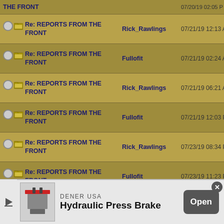| Subject | Author | Date |
| --- | --- | --- |
| Re: REPORTS FROM THE FRONT | Rick_Rawlings | 07/21/19 12:13 AM |
| Re: REPORTS FROM THE FRONT | Fullofit | 07/21/19 02:24 AM |
| Re: REPORTS FROM THE FRONT | Rick_Rawlings | 07/21/19 06:21 AM |
| Re: REPORTS FROM THE FRONT | Fullofit | 07/21/19 12:03 PM |
| Re: REPORTS FROM THE FRONT | Rick_Rawlings | 07/23/19 08:34 PM |
| Re: REPORTS FROM THE FRONT | Fullofit | 07/23/19 11:23 PM |
| Re: REPORTS FROM THE FRONT | Rick_Rawlings | 07/23/19 11:31 PM |
| Re: REPORTS FROM | Fullofit | 07/24/19 12:... |
[Figure (infographic): Advertisement banner for DENER USA Hydraulic Press Brake with an Open button]